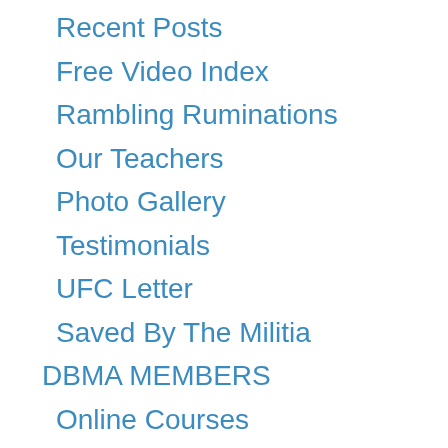Recent Posts
Free Video Index
Rambling Ruminations
Our Teachers
Photo Gallery
Testimonials
UFC Letter
Saved By The Militia
DBMA MEMBERS
Online Courses
Course Updates
Course Progress Tracker
Members Forum
Latest Comments
TRIBE MEMBERS